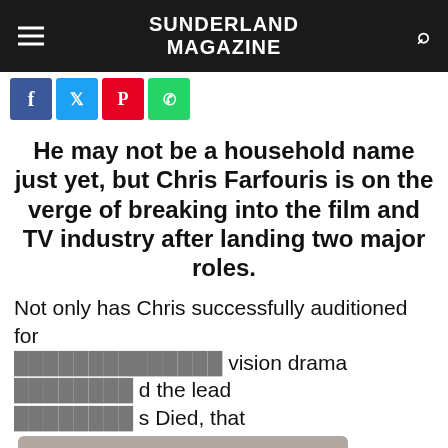SUNDERLAND MAGAZINE
[Figure (other): Social media share buttons: Facebook, Twitter, Pinterest, WhatsApp]
He may not be a household name just yet, but Chris Farfouris is on the verge of breaking into the film and TV industry after landing two major roles.
Not only has Chris successfully auditioned for the [obscured] vision drama [obscured] d the lead [obscured] s Died, that [obscured] America.
Cookies - To make this site work properly, we sometimes place small data files called cookies on your device. Most websites do this too.
Accept    Read more